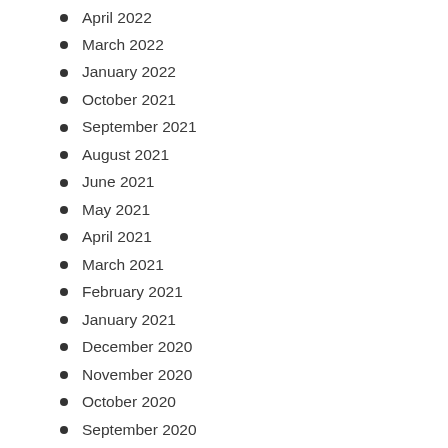April 2022
March 2022
January 2022
October 2021
September 2021
August 2021
June 2021
May 2021
April 2021
March 2021
February 2021
January 2021
December 2020
November 2020
October 2020
September 2020
August 2020
July 2020
June 2020